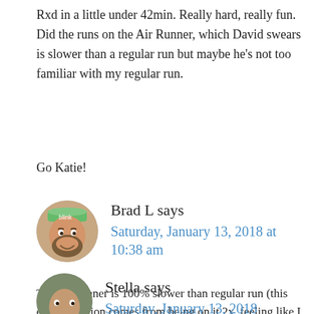Rxd in a little under 42min. Really hard, really fun. Did the runs on the Air Runner, which David swears is slower than a regular run but maybe he’s not too familiar with my regular run.
Go Katie!
Brad L says
Saturday, January 13, 2018 at 10:38 am
That air runner is 100% slower than regular run (this expert opinion comes from being on it 2x, feeling like I was going really fast, looking at the speedometer, only to see like 8:30/mile)
Stella says
Saturday, January 13, 2018